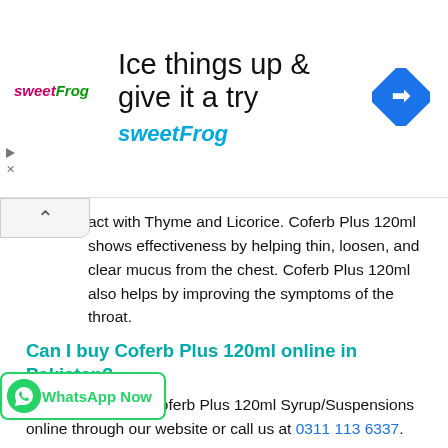[Figure (other): Advertisement banner for sweetFrog with text 'Ice things up & give it a try' and 'sweetFrog' logo, with a blue diamond navigation icon on the right]
act with Thyme and Licorice. Coferb Plus 120ml shows effectiveness by helping thin, loosen, and clear mucus from the chest. Coferb Plus 120ml also helps by improving the symptoms of the throat.
Can I buy Coferb Plus 120ml online in Pakistan?
Yes! You can buy Coferb Plus 120ml Syrup/Suspensions online through our website or call us at 0311 113 6337.
What dose should I choose?
For adults (above 18), 1-2 teaspoons of Coferb Plus 120ml 2-3 times a day or prescribed by the doctor.
For children (below 17), 1 teaspoon of Coferb Plus 120ml 2 times a day.